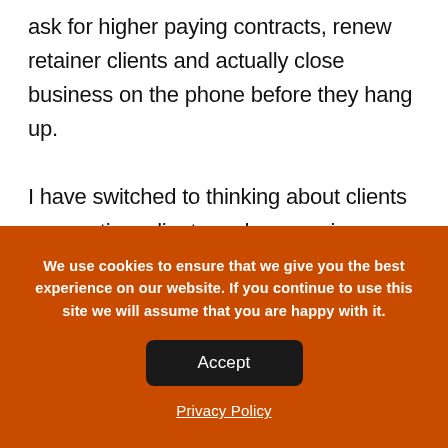ask for higher paying contracts, renew retainer clients and actually close business on the phone before they hang up.

I have switched to thinking about clients as one-time clients and my services as commodities. Brennan has helped me make this giant leap in thinking. It was like a lightbulb moment. Seems so simple, but it became crystal clear the way he positioned it.
We use cookies to ensure that we give you the best experience on our website. If you continue to use this site we will assume that you are happy with it.
Accept
Privacy Policy